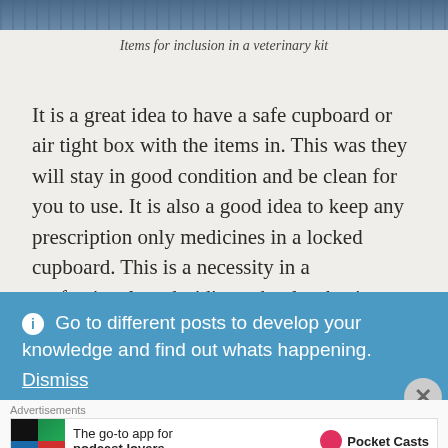[Figure (photo): Top portion of an image showing items for inclusion in a veterinary kit, partial view of objects on a blue/dark background]
Items for inclusion in a veterinary kit
It is a great idea to have a safe cupboard or air tight box with the items in. This was they will stay in good condition and be clean for you to use. It is also a good idea to keep any prescription only medicines in a locked cupboard. This is a necessity in a professional yard, riding school or business.
ℹ Go to different posts to develop your knowledge and find out whats happening.
Dismiss
[Figure (screenshot): Pocket Casts advertisement banner: The go-to app for podcast lovers.]